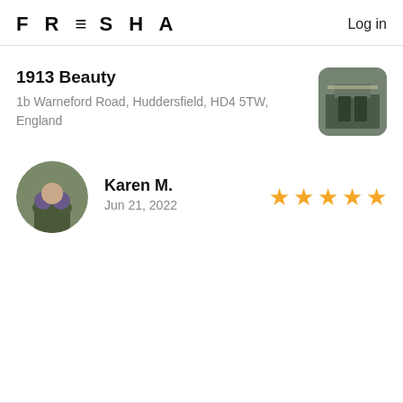FRESHA  Log in
1913 Beauty
1b Warneford Road, Huddersfield, HD4 5TW, England
[Figure (photo): Thumbnail photo of 1913 Beauty salon exterior entrance]
[Figure (photo): Circular profile photo of reviewer Karen M.]
Karen M.
Jun 21, 2022
[Figure (infographic): 5 gold star rating icons]